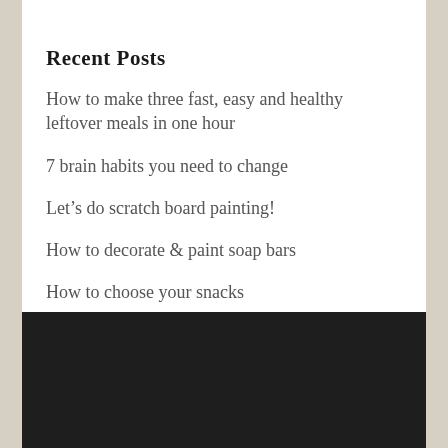Recent Posts
How to make three fast, easy and healthy leftover meals in one hour
7 brain habits you need to change
Let’s do scratch board painting!
How to decorate & paint soap bars
How to choose your snacks